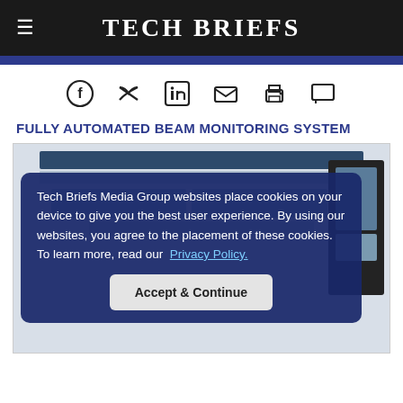Tech Briefs
[Figure (screenshot): Social sharing icons row: Facebook, Twitter, LinkedIn, Email, Print, Comment]
FULLY AUTOMATED BEAM MONITORING SYSTEM
[Figure (screenshot): Screenshot of the beam monitoring system software interface with hardware devices shown, overlaid by a cookie consent banner]
Tech Briefs Media Group websites place cookies on your device to give you the best user experience. By using our websites, you agree to the placement of these cookies. To learn more, read our Privacy Policy.
Accept & Continue